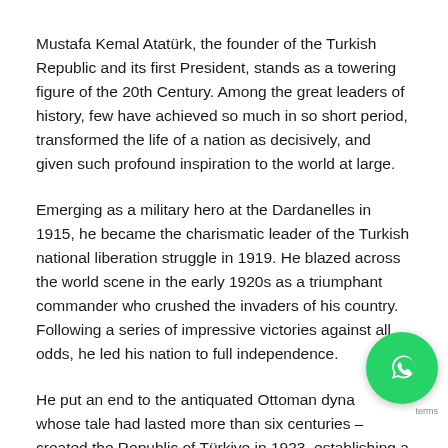Mustafa Kemal Atatürk, the founder of the Turkish Republic and its first President, stands as a towering figure of the 20th Century. Among the great leaders of history, few have achieved so much in so short period, transformed the life of a nation as decisively, and given such profound inspiration to the world at large.
Emerging as a military hero at the Dardanelles in 1915, he became the charismatic leader of the Turkish national liberation struggle in 1919. He blazed across the world scene in the early 1920s as a triumphant commander who crushed the invaders of his country. Following a series of impressive victories against all odds, he led his nation to full independence.
He put an end to the antiquated Ottoman dynasty, whose tale had lasted more than six centuries – created the Republic of Türkiye in 1923, establishing a
[Figure (other): WhatsApp icon overlay button (green circle with white phone handset icon)]